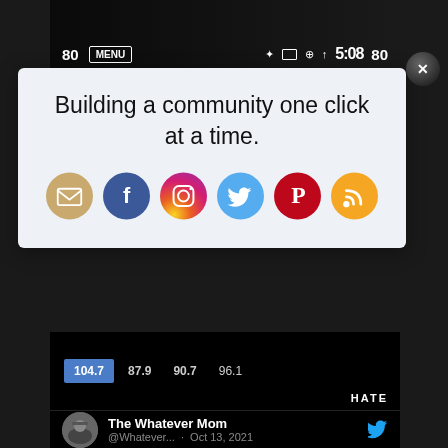[Figure (screenshot): Top portion of a smartphone screen showing status bar with 80, MENU button, wifi icon, 5:08, 80 in white text on dark background]
Building a community one click at a time.
[Figure (infographic): Six social media icon circles: email (tan/gold), Facebook (blue), Instagram (purple/gradient), Twitter (blue), Pinterest (red), RSS (orange)]
[Figure (screenshot): Smartphone radio display showing frequencies 104.7 (highlighted in blue), 87.9, 90.7, 96.1 on dark background, with HATE text visible at bottom right]
[Figure (screenshot): Dark Twitter interface showing comment and heart action icons]
[Figure (screenshot): Twitter profile row showing The Whatever Mom account, @Whatever... handle, Oct 13, 2021 date, with avatar and Twitter bird icon]